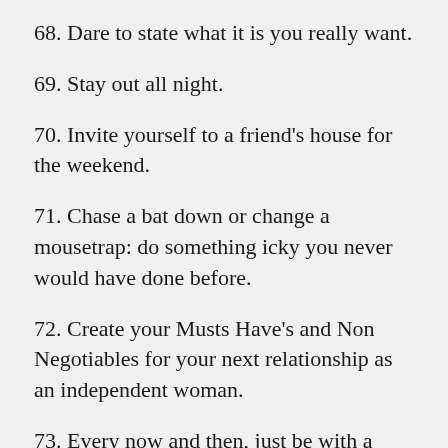68. Dare to state what it is you really want.
69. Stay out all night.
70. Invite yourself to a friend's house for the weekend.
71. Chase a bat down or change a mousetrap: do something icky you never would have done before.
72. Create your Musts Have's and Non Negotiables for your next relationship as an independent woman.
73. Every now and then, just be with a small